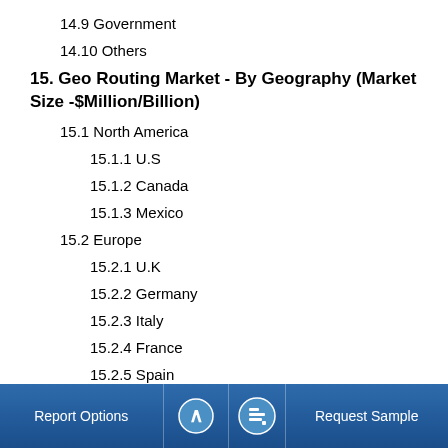14.9 Government
14.10 Others
15. Geo Routing Market - By Geography (Market Size -$Million/Billion)
15.1 North America
15.1.1 U.S
15.1.2 Canada
15.1.3 Mexico
15.2 Europe
15.2.1 U.K
15.2.2 Germany
15.2.3 Italy
15.2.4 France
15.2.5 Spain
15.2.6 Others
Report Options   ^   Request Sample